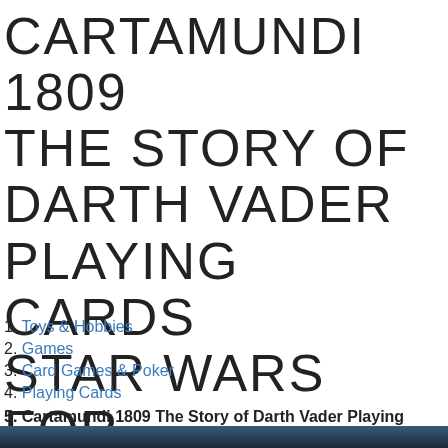CARTAMUNDI 1809 THE STORY OF DARTH VADER PLAYING CARDS STAR WARS FOR SALE ONLINE
1. Toys & Hobbies
2. Games
3. Card Games & Poker
4. Playing Cards
5. Cartamundi 1809 The Story of Darth Vader Playing Cards Star Wars for sale online